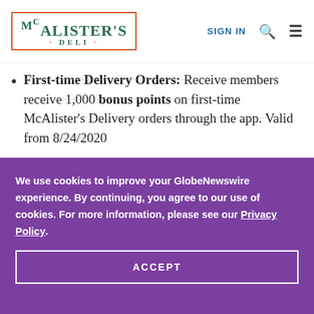McAlister's Deli - SIGN IN
First-time Delivery Orders: Receive members receive 1,000 bonus points on first-time McAlister's Delivery orders through the app. Valid from 8/24/2020
We use cookies to improve your GlobeNewswire experience. By continuing, you agree to our use of cookies. For more information, please see our Privacy Policy.
ACCEPT